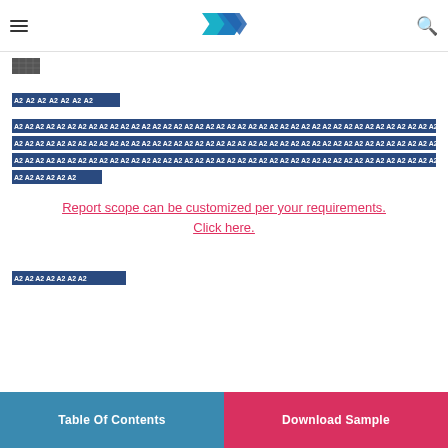[Figure (logo): Market research company logo with geometric M shape in teal and blue colors]
[Figure (other): Small redacted/blurred thumbnail image]
[Figure (other): Redacted row of repeated A2 labeled blocks - medium width]
[Figure (other): Redacted rows of repeated A2 labeled blocks - full width, 3 rows plus short row]
Report scope can be customized per your requirements. Click here.
[Figure (other): Redacted row of repeated A2 labeled blocks - medium width at bottom]
Table Of Contents | Download Sample